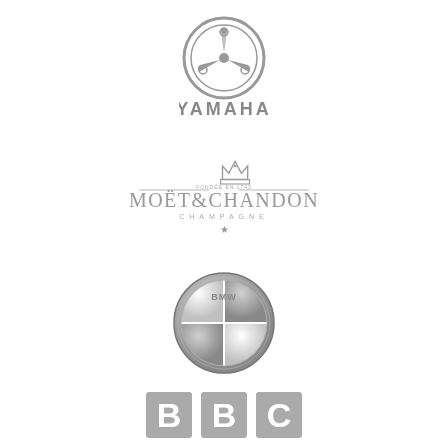[Figure (logo): Yamaha logo in gray - circular tuning fork emblem with YAMAHA text below]
[Figure (logo): Moet & Chandon Champagne logo in gray - crown emblem with MOET&CHANDON CHAMPAGNE text and star]
[Figure (logo): BMW logo in gray - circular roundel with BMW text and four quadrants]
[Figure (logo): BBC logo in gray - three squares with letters B, B, C]